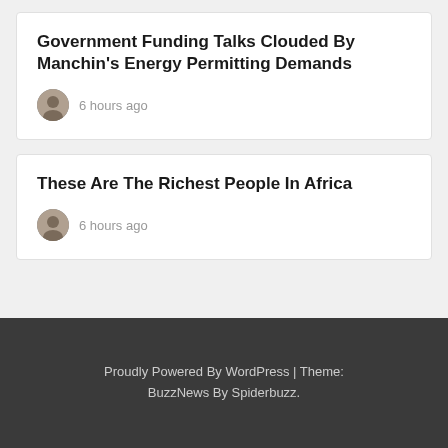Government Funding Talks Clouded By Manchin's Energy Permitting Demands
6 hours ago
These Are The Richest People In Africa
6 hours ago
Proudly Powered By WordPress | Theme: BuzzNews By Spiderbuzz.